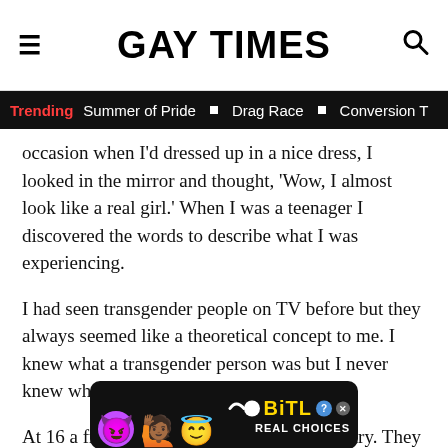GAY TIMES
Trending  Summer of Pride  ■  Drag Race  ■  Conversion T
occasion when I'd dressed up in a nice dress, I looked in the mirror and thought, 'Wow, I almost look like a real girl.' When I was a teenager I discovered the words to describe what I was experiencing.
I had seen transgender people on TV before but they always seemed like a theoretical concept to me. I knew what a transgender person was but I never knew what it meant to be transgender.
At 16 a friend of mine came out as non-binary. They described their experiences with gender dysphoria to me... jigsa...